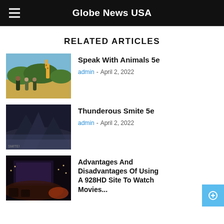Globe News USA
RELATED ARTICLES
[Figure (photo): People and giraffe on safari in an African savanna]
Speak With Animals 5e
admin - April 2, 2022
[Figure (photo): Dark mountainous fantasy landscape with mist]
Thunderous Smite 5e
admin - April 2, 2022
[Figure (photo): Dark indoor cinematic scene]
Advantages And Disadvantages Of Using A 928HD Site To Watch Movies...